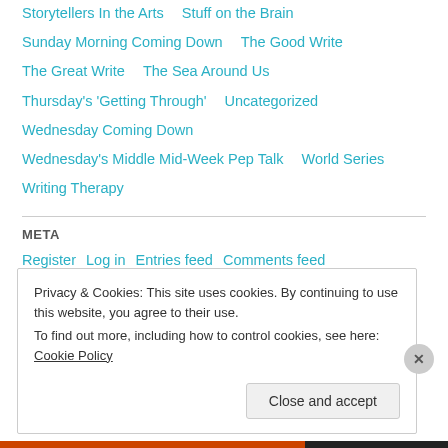Storytellers In the Arts    Stuff on the Brain
Sunday Morning Coming Down    The Good Write
The Great Write    The Sea Around Us
Thursday's 'Getting Through'    Uncategorized
Wednesday Coming Down
Wednesday's Middle Mid-Week Pep Talk    World Series
Writing Therapy
META
Register    Log in    Entries feed    Comments feed
Privacy & Cookies: This site uses cookies. By continuing to use this website, you agree to their use.
To find out more, including how to control cookies, see here: Cookie Policy